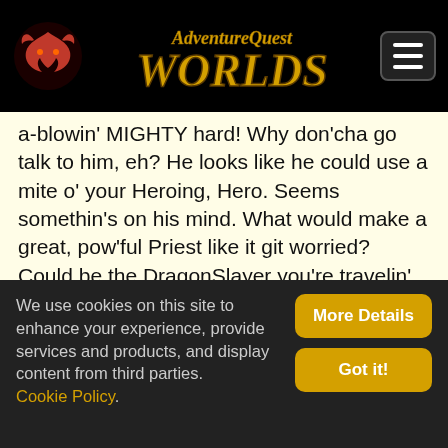AdventureQuest Worlds
a-blowin' MIGHTY hard! Why don'cha go talk to him, eh? He looks like he could use a mite o' your Heroing, Hero. Seems somethin's on his mind. What would make a great, pow'ful Priest like it git worried? Could be the DragonSlayer you're travelin' with, mebbe?
[Figure (illustration): Game scene showing fantasy creatures including a winged beast with outstretched claws and a dark dragon-like figure against a purple/orange sunset sky with red clouds.]
We use cookies on this site to enhance your experience, provide services and products, and display content from third parties. Cookie Policy.